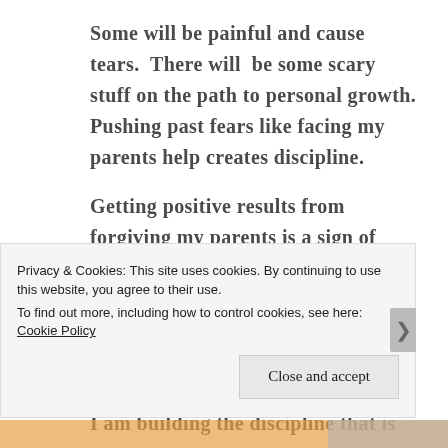Some will be painful and cause tears.  There will  be some scary stuff on the path to personal growth. Pushing past fears like facing my parents help creates discipline.
Getting positive results from forgiving my parents is a sign of personal growth. Pushing myself to make small goals and achieve them in different areas of my life like eating better, going on a daily walk, or becoming more skilled in a talent. I am building the discipline that is
Privacy & Cookies: This site uses cookies. By continuing to use this website, you agree to their use.
To find out more, including how to control cookies, see here: Cookie Policy